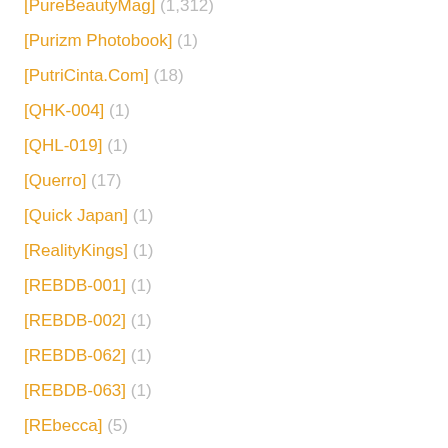[PureBeautyMag] (1,312)
[Purizm Photobook] (1)
[PutriCinta.Com] (18)
[QHK-004] (1)
[QHL-019] (1)
[Querro] (17)
[Quick Japan] (1)
[RealityKings] (1)
[REBDB-001] (1)
[REBDB-002] (1)
[REBDB-062] (1)
[REBDB-063] (1)
[REbecca] (5)
[REPLY-1002] (1)
[Rigin-Studio] (6)